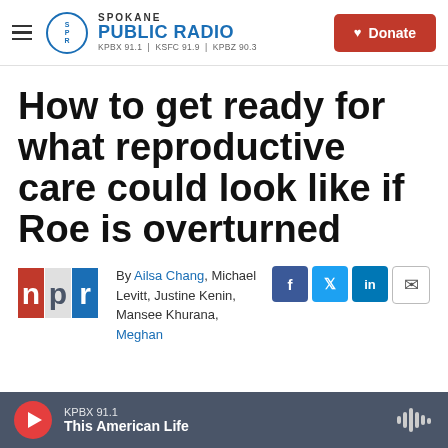Spokane Public Radio — KPBX 91.1 | KSFC 91.9 | KPBZ 90.3 | Donate
How to get ready for what reproductive care could look like if Roe is overturned
By Ailsa Chang, Michael Levitt, Justine Kenin, Mansee Khurana, Meghan
KPBX 91.1 — This American Life